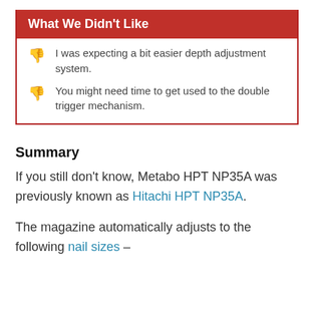What We Didn't Like
I was expecting a bit easier depth adjustment system.
You might need time to get used to the double trigger mechanism.
Summary
If you still don't know, Metabo HPT NP35A was previously known as Hitachi HPT NP35A.
The magazine automatically adjusts to the following nail sizes –